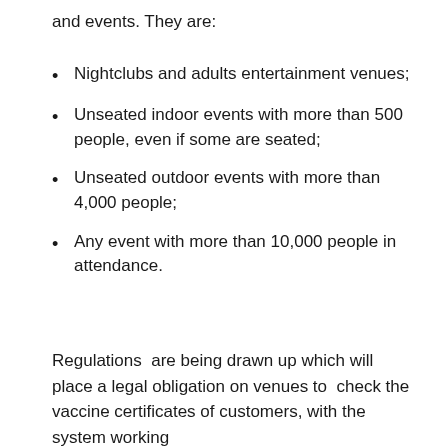and events. They are:
Nightclubs and adults entertainment venues;
Unseated indoor events with more than 500 people, even if some are seated;
Unseated outdoor events with more than 4,000 people;
Any event with more than 10,000 people in attendance.
Regulations are being drawn up which will place a legal obligation on venues to check the vaccine certificates of customers, with the system working mainly via mobile phone apps.